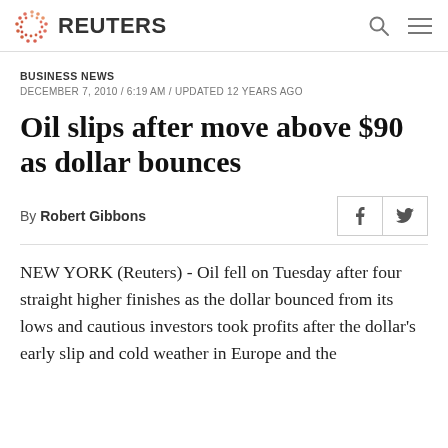REUTERS
BUSINESS NEWS
DECEMBER 7, 2010 / 6:19 AM / UPDATED 12 YEARS AGO
Oil slips after move above $90 as dollar bounces
By Robert Gibbons
NEW YORK (Reuters) - Oil fell on Tuesday after four straight higher finishes as the dollar bounced from its lows and cautious investors took profits after the dollar's early slip and cold weather in Europe and the